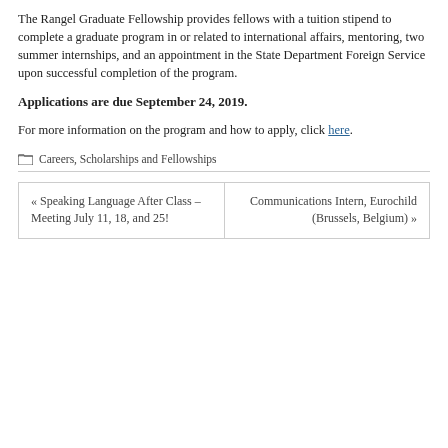The Rangel Graduate Fellowship provides fellows with a tuition stipend to complete a graduate program in or related to international affairs, mentoring, two summer internships, and an appointment in the State Department Foreign Service upon successful completion of the program.
Applications are due September 24, 2019.
For more information on the program and how to apply, click here.
Careers, Scholarships and Fellowships
« Speaking Language After Class – Meeting July 11, 18, and 25!
Communications Intern, Eurochild (Brussels, Belgium) »